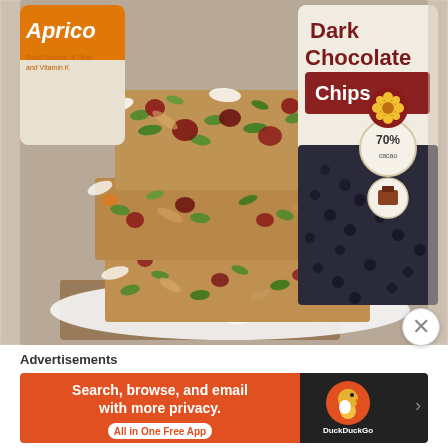[Figure (photo): Stacked granola/seed bars with oats, pumpkin seeds, dried fruit, and coconut flakes on a white plate, with an Apricot product bag and a Dark Chocolate 70% Cacao chips bag visible in the background.]
Advertisements
[Figure (screenshot): DuckDuckGo advertisement banner: 'Search, browse, and email with more privacy. All in One Free App' on orange background with DuckDuckGo logo on dark background.]